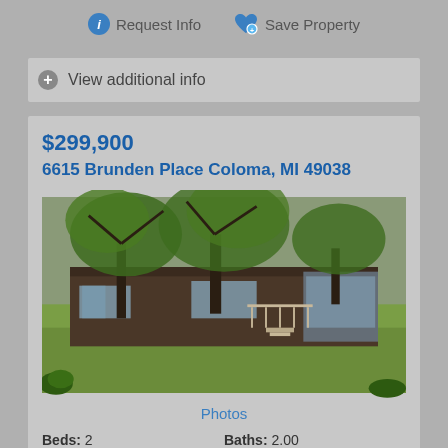Request Info   Save Property
View additional info
$299,900
6615 Brunden Place Coloma, MI 49038
[Figure (photo): Exterior photo of a log-style ranch house surrounded by large trees with lush green lawn in foreground]
Photos
Beds: 2   Baths: 2.00